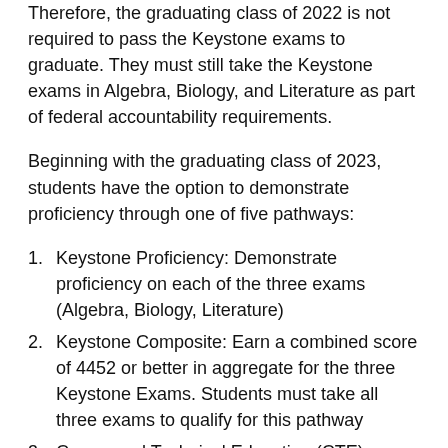Therefore, the graduating class of 2022 is not required to pass the Keystone exams to graduate. They must still take the Keystone exams in Algebra, Biology, and Literature as part of federal accountability requirements.
Beginning with the graduating class of 2023, students have the option to demonstrate proficiency through one of five pathways:
1. Keystone Proficiency: Demonstrate proficiency on each of the three exams (Algebra, Biology, Literature)
2. Keystone Composite: Earn a combined score of 4452 or better in aggregate for the three Keystone Exams. Students must take all three exams to qualify for this pathway
3. Career and Technical Education (CTE)